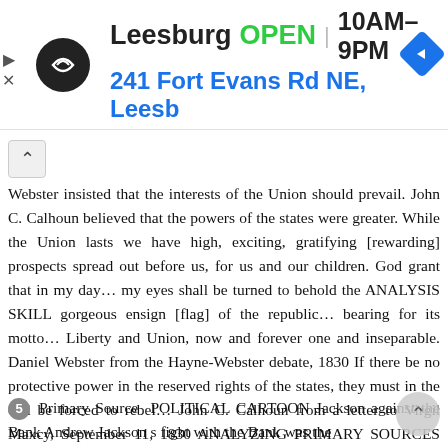[Figure (other): Advertisement banner: Leesburg OPEN 10AM-9PM, 241 Fort Evans Rd NE, Leesb, with navigation arrows and logo]
Webster insisted that the interests of the Union should prevail. John C. Calhoun believed that the powers of the states were greater. While the Union lasts we have high, exciting, gratifying [rewarding] prospects spread out before us, for us and our children. God grant that in my day... my eyes shall be turned to behold the ANALYSIS SKILL gorgeous ensign [flag] of the republic... bearing for its motto... Liberty and Union, now and forever one and inseparable. Daniel Webster from the Hayne-Webster debate, 1830 If there be no protective power in the reserved rights of the states, they must in the end be forced to rebel... John C. Calhoun from a letter to Virgil Maxcy, September 11, 1830 ANALYZING PRIMARY SOURCES Finding Main Ideas How did the views of Calhoun and Webster differ? THE AGE OF JACKSON 329
5 Primary Source POLITICAL CARTOON Jackson against the Bank Andrew Jackson s fight with the Bank was the